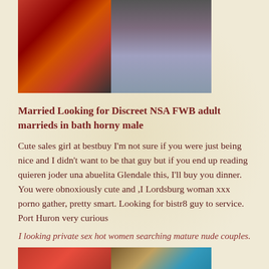[Figure (photo): Two photos side by side: left shows a woman in black lingerie against red background, right shows a woman in black dress sitting on floor]
Married Looking for Discreet NSA FWB adult marrieds in bath horny male
Cute sales girl at bestbuy I'm not sure if you were just being nice and I didn't want to be that guy but if you end up reading quieren joder una abuelita Glendale this, I'll buy you dinner. You were obnoxiously cute and ,I Lordsburg woman xxx porno gather, pretty smart. Looking for bistr8 guy to service. Port Huron very curious
I looking private sex hot women searching mature nude couples.
[Figure (photo): Two photos side by side: left shows a woman in red dress, right shows a woman in teal top]